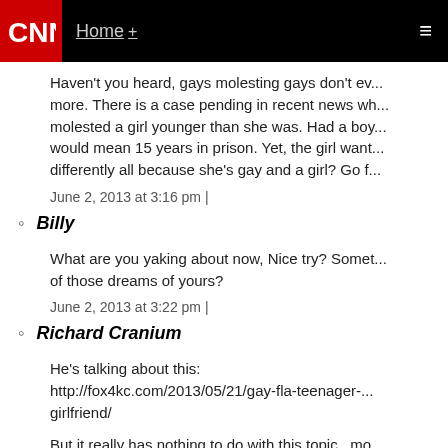CNN | Home +
Haven't you heard, gays molesting gays don't ev... more. There is a case pending in recent news wh... molested a girl younger than she was. Had a boy... would mean 15 years in prison. Yet, the girl want... differently all because she's gay and a girl? Go f...
June 2, 2013 at 3:16 pm |
Billy
What are you yaking about now, Nice try? Somet... of those dreams of yours?
June 2, 2013 at 3:22 pm |
Richard Cranium
He's talking about this: http://fox4kc.com/2013/05/21/gay-fla-teenager-... girlfriend/
But it really has nothing to do with this topic...mo...